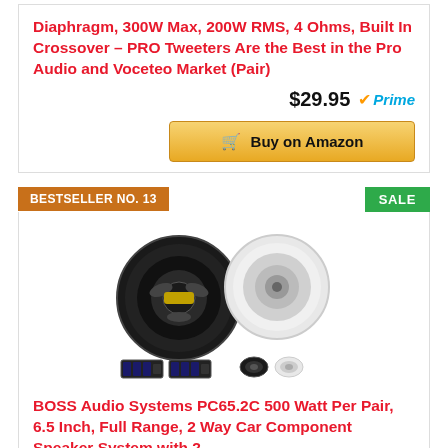Diaphragm, 300W Max, 200W RMS, 4 Ohms, Built In Crossover – PRO Tweeters Are the Best in the Pro Audio and Voceteo Market (Pair)
$29.95 Prime
Buy on Amazon
BESTSELLER NO. 13
SALE
[Figure (photo): Product photo of BOSS Audio Systems PC65.2C car component speaker system with two speakers, crossover units, and tweeter]
BOSS Audio Systems PC65.2C 500 Watt Per Pair, 6.5 Inch, Full Range, 2 Way Car Component Speaker System with 2